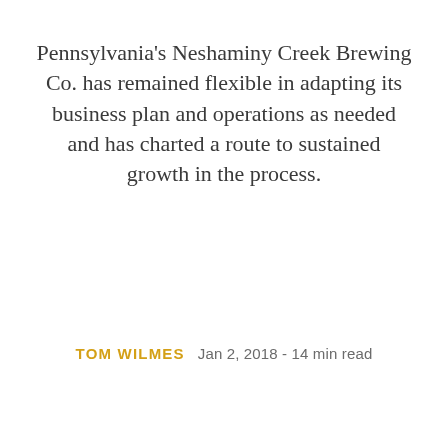Pennsylvania's Neshaminy Creek Brewing Co. has remained flexible in adapting its business plan and operations as needed and has charted a route to sustained growth in the process.
TOM WILMES   Jan 2, 2018 - 14 min read